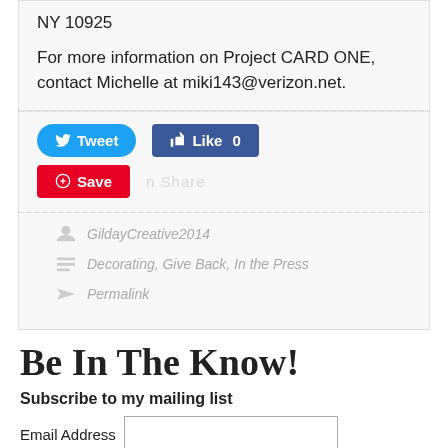NY 10925
For more information on Project CARD ONE, contact Michelle at miki143@verizon.net.
[Figure (infographic): Social sharing buttons: Tweet (Twitter blue), Like 0 (Facebook blue), Save (Pinterest red), and a partially visible Share button]
GildayCreative2014
Decorating, Give Back, In the Press
Permalink
Be In The Know!
Subscribe to my mailing list
Email Address
View previous campaigns.
Subscribe